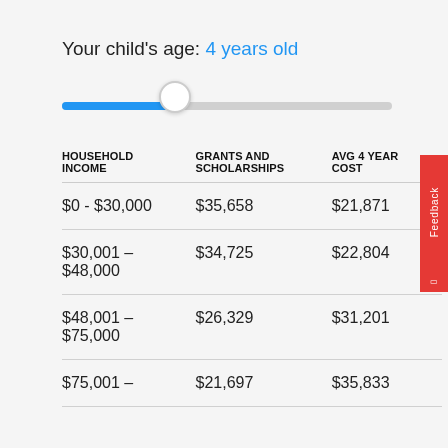Your child's age: 4 years old
[Figure (other): Horizontal slider showing child age set to 4 years old, with blue fill on the left and grey track on the right]
| HOUSEHOLD INCOME | GRANTS AND SCHOLARSHIPS | AVG 4 YEAR COST |
| --- | --- | --- |
| $0 - $30,000 | $35,658 | $21,871 |
| $30,001 - $48,000 | $34,725 | $22,804 |
| $48,001 - $75,000 | $26,329 | $31,201 |
| $75,001 - | $21,697 | $35,833 |